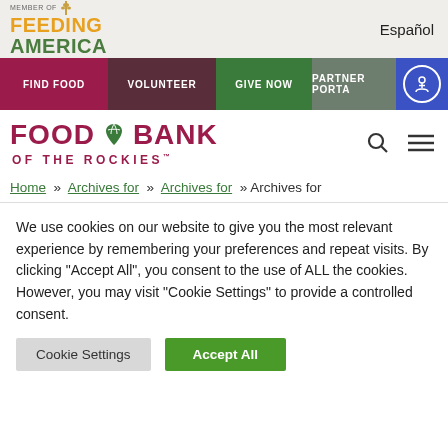[Figure (logo): Feeding America logo with wheat icon, orange 'FEEDING' and green 'AMERICA' text, 'MEMBER OF' label above]
Español
FIND FOOD
VOLUNTEER
GIVE NOW
PARTNER PORTAL
[Figure (logo): Food Bank of the Rockies logo with green leaf/sprout icon, maroon text]
Home » Archives for » Archives for » Archives for
We use cookies on our website to give you the most relevant experience by remembering your preferences and repeat visits. By clicking "Accept All", you consent to the use of ALL the cookies. However, you may visit "Cookie Settings" to provide a controlled consent.
Cookie Settings
Accept All